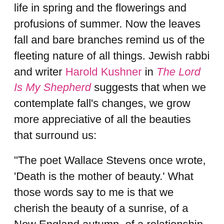life in spring and the flowerings and profusions of summer. Now the leaves fall and bare branches remind us of the fleeting nature of all things. Jewish rabbi and writer Harold Kushner in The Lord Is My Shepherd suggests that when we contemplate fall's changes, we grow more appreciative of all the beauties that surround us:
"The poet Wallace Stevens once wrote, 'Death is the mother of beauty.' What those words say to me is that we cherish the beauty of a sunrise, of a New England autumn, of a relationship, of a child's hug, precisely because those things will not be around forever and neither will we be around to enjoy them."
Fall also brings home to our consciousness death